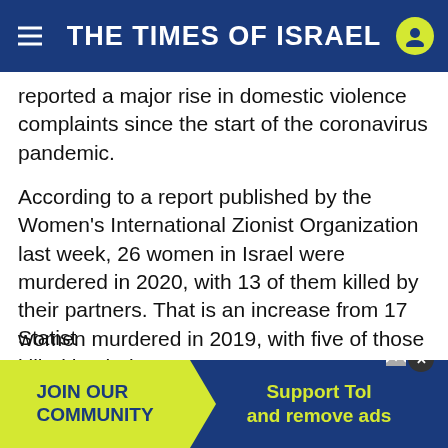THE TIMES OF ISRAEL
reported a major rise in domestic violence complaints since the start of the coronavirus pandemic.
According to a report published by the Women's International Zionist Organization last week, 26 women in Israel were murdered in 2020, with 13 of them killed by their partners. That is an increase from 17 women murdered in 2019, with five of those killed by their partners.
So far in 2021, says WIZO, 20 women have been murdered in Israel.
Statist
[Figure (other): Advertisement banner: JOIN OUR COMMUNITY | Support ToI and remove ads]